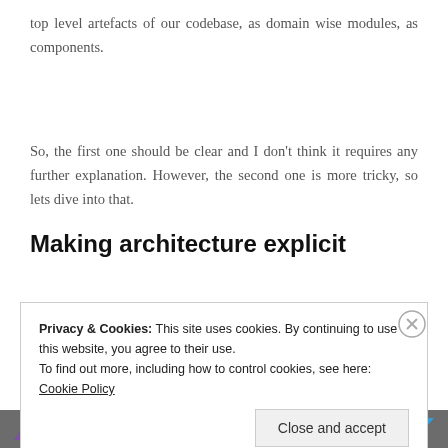top level artefacts of our codebase, as domain wise modules, as components.
So, the first one should be clear and I don't think it requires any further explanation. However, the second one is more tricky, so lets dive into that.
Making architecture explicit
Privacy & Cookies: This site uses cookies. By continuing to use this website, you agree to their use.
To find out more, including how to control cookies, see here: Cookie Policy
Close and accept